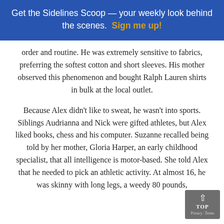Get the Sidelines Scoop — your weekly look behind the scenes. Sign me up!
order and routine. He was extremely sensitive to fabrics, preferring the softest cotton and short sleeves. His mother observed this phenomenon and bought Ralph Lauren shirts in bulk at the local outlet.
Because Alex didn't like to sweat, he wasn't into sports. Siblings Audrianna and Nick were gifted athletes, but Alex liked books, chess and his computer. Suzanne recalled being told by her mother, Gloria Harper, an early childhood specialist, that all intelligence is motor-based. She told Alex that he needed to pick an athletic activity. At almost 16, he was skinny with long legs, a weedy 80 pounds,